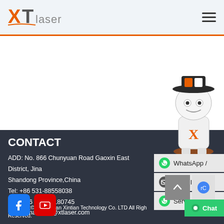XT Laser
[Figure (logo): XT Laser logo with orange X and grey T-laser text]
CONTACT
ADD: No. 866 Chunyuan Road Gaoxin East District, Jinan, Shandong Province,China
Tel: +86 531-88558038
Fax: +86 531-81180745
Email: manager@xtlaser.com
[Figure (illustration): XT Laser mascot robot character in white and orange]
[Figure (infographic): WhatsApp, E-mail, and Service contact buttons on the right side]
[Figure (infographic): Facebook and YouTube social media icons]
Copyright© 2016 Jinan Xintian Technology Co. LTD All Rights Reserved.